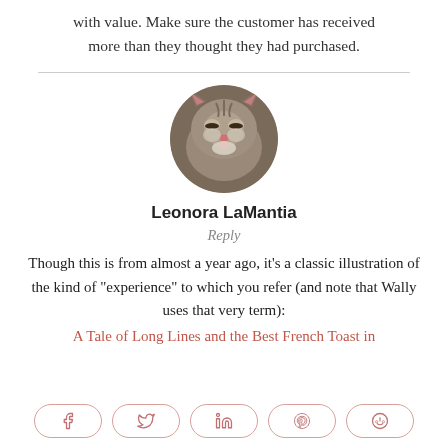with value. Make sure the customer has received more than they thought they had purchased.
[Figure (photo): Circular avatar photo of a tabby cat sticking out its tongue]
Leonora LaMantia
Reply
Though this is from almost a year ago, it’s a classic illustration of the kind of “experience” to which you refer (and note that Wally uses that very term):
A Tale of Long Lines and the Best French Toast in
[Figure (infographic): Social share buttons: Facebook, Twitter, LinkedIn, Pinterest, Reddit]